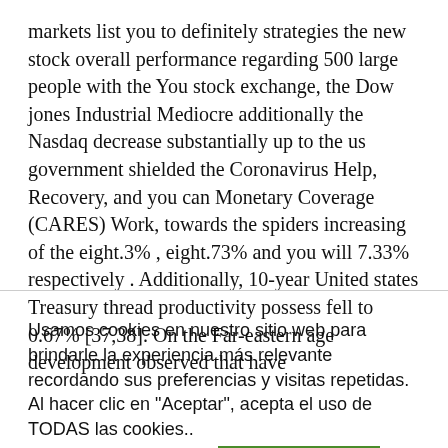markets list you to definitely strategies the new stock overall performance regarding 500 large people with the You stock exchange, the Dow jones Industrial Mediocre additionally the Nasdaq decrease substantially up to the us government shielded the Coronavirus Help, Recovery, and you can Monetary Coverage (CARES) Work, towards the spiders increasing of the eight.3% , eight.73% and you will 7.33% respectively . Additionally, 10-year United states Treasury thread productivity possess fell to 0.67% [37,38]. On the Far-eastern age development observed that have
Usamos cookies en nuestro sitio web para brindarle la experiencia más relevante recordando sus preferencias y visitas repetidas. Al hacer clic en "Aceptar", acepta el uso de TODAS las cookies..
AJUSTES COOKIES
ACEPTAR